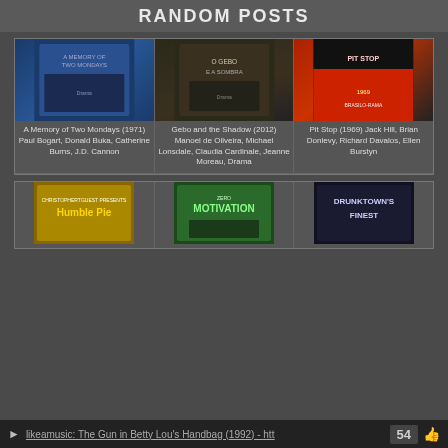RANDOM POSTS
[Figure (photo): Movie poster: A Memory of Two Mondays (1971)]
[Figure (photo): Movie poster: Gebo and the Shadow (2012)]
[Figure (photo): Movie poster: Pit Stop (1969)]
A Memory of Two Mondays (1971) Paul Bogart, Donald Buka, Catherine Burns, J.D. Cannon
Gebo and the Shadow (2012) Manoel de Oliveira, Michael Lonsdale, Claudia Cardinale, Jeanne Moreau, Drama
Pit Stop (1969) Jack Hill, Brian Donlevy, Richard Davalos, Ellen Burstyn
[Figure (photo): Movie poster: Humble Pie]
[Figure (photo): Movie poster: Zero Motivation]
[Figure (photo): Movie poster: Drunktown's Finest]
likeamusic: The Gun in Betty Lou's Handbag (1992) - http...  54